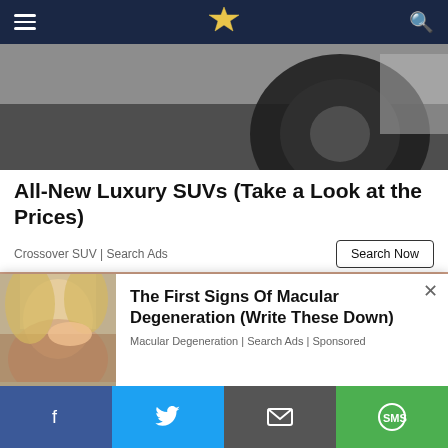Navigation bar with hamburger menu, site logo, and search icon
[Figure (photo): Close-up of a dark car wheel/tire on a light background]
All-New Luxury SUVs (Take a Look at the Prices)
Crossover SUV | Search Ads
[Figure (photo): Hand holding a clear glass of water against a pink/beige background]
[Figure (photo): Woman with blonde hair rubbing her eye (partial, left side of popup)]
The First Signs Of Macular Degeneration (Write These Down)
Macular Degeneration | Search Ads | Sponsored
Share bar: Facebook, Twitter, Email, SMS